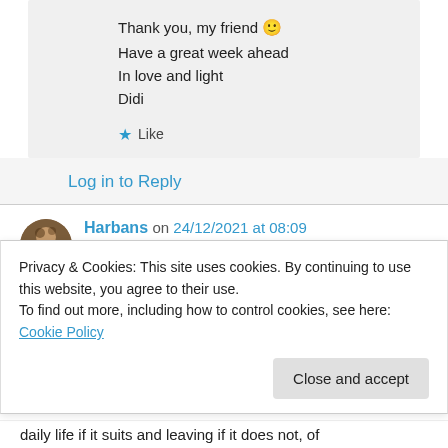Thank you, my friend 🙂
Have a great week ahead
In love and light
Didi
★ Like
Log in to Reply
Harbans on 24/12/2021 at 08:09
👍 0 👎 0 ℹ Rate This
Privacy & Cookies: This site uses cookies. By continuing to use this website, you agree to their use.
To find out more, including how to control cookies, see here: Cookie Policy
Close and accept
daily life if it suits and leaving if it does not, of